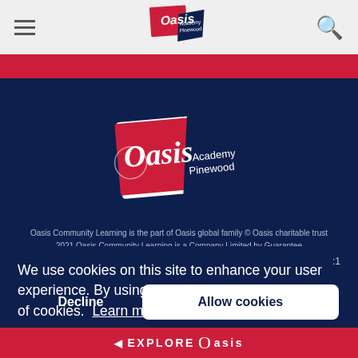Oasis Academy Pinewood — navigation bar with hamburger menu and search icon
[Figure (logo): Oasis Academy Pinewood logo — red square with white Oasis text and navy blue banner with Academy Pinewood text, centered on dark blue background]
Oasis Community Learning is the part of Oasis global family © Oasis charitable trust
2021 Oasis Community Learning is a Company Limited by Guarantee
We use cookies on this site to enhance your user experience. By using our site, you agree to our use of cookies. Learn more
Decline
Allow cookies
◄ EXPLORE Oasis